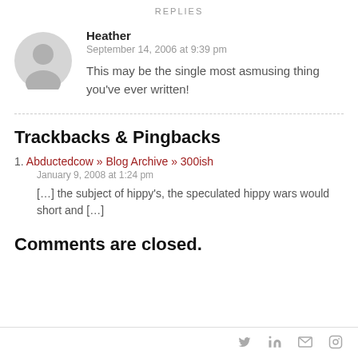REPLIES
Heather
September 14, 2006 at 9:39 pm
This may be the single most asmusing thing you've ever written!
Trackbacks & Pingbacks
1. Abductedcow » Blog Archive » 300ish
January 9, 2008 at 1:24 pm
[…] the subject of hippy's, the speculated hippy wars would short and […]
Comments are closed.